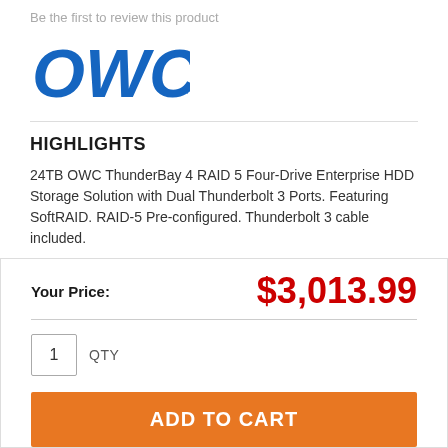Be the first to review this product
[Figure (logo): OWC logo in blue bold italic letters with trademark symbol]
HIGHLIGHTS
24TB OWC ThunderBay 4 RAID 5 Four-Drive Enterprise HDD Storage Solution with Dual Thunderbolt 3 Ports. Featuring SoftRAID. RAID-5 Pre-configured. Thunderbolt 3 cable included.
Your Price: $3,013.99
1 QTY
ADD TO CART